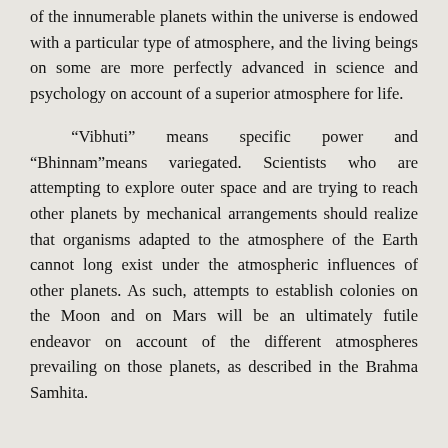of the innumerable planets within the universe is endowed with a particular type of atmosphere, and the living beings on some are more perfectly advanced in science and psychology on account of a superior atmosphere for life.
“Vibhuti” means specific power and “Bhinnam”means variegated. Scientists who are attempting to explore outer space and are trying to reach other planets by mechanical arrangements should realize that organisms adapted to the atmosphere of the Earth cannot long exist under the atmospheric influences of other planets. As such, attempts to establish colonies on the Moon and on Mars will be an ultimately futile endeavor on account of the different atmospheres prevailing on those planets, as described in the Brahma Samhita.